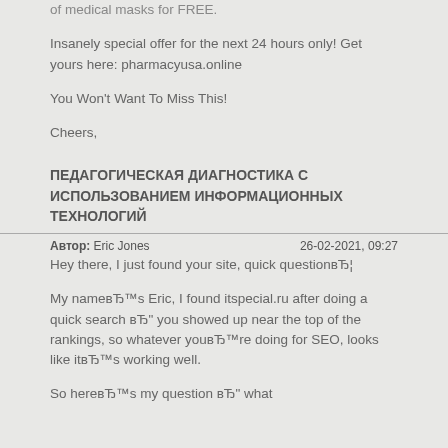of medical masks for FREE.
Insanely special offer for the next 24 hours only! Get yours here: pharmacyusa.online
You Won't Want To Miss This!
Cheers,
ПЕДАГОГИЧЕСКАЯ ДИАГНОСТИКА С ИСПОЛЬЗОВАНИЕМ ИНФОРМАЦИОННЫХ ТЕХНОЛОГИЙ
Автор: Eric Jones    26-02-2021, 09:27
Hey there, I just found your site, quick questionвЂ¦
My nameвЂ™s Eric, I found itspecial.ru after doing a quick search вЂ" you showed up near the top of the rankings, so whatever youвЂ™re doing for SEO, looks like itвЂ™s working well.
So hereвЂ™s my question вЂ" what